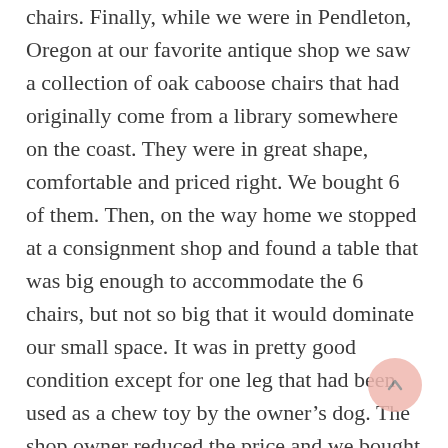chairs. Finally, while we were in Pendleton, Oregon at our favorite antique shop we saw a collection of oak caboose chairs that had originally come from a library somewhere on the coast. They were in great shape, comfortable and priced right. We bought 6 of them. Then, on the way home we stopped at a consignment shop and found a table that was big enough to accommodate the 6 chairs, but not so big that it would dominate our small space. It was in pretty good condition except for one leg that had been used as a chew toy by the owner's dog. The shop owner reduced the price and we bought the table.
Fast forward to this week (13 months later) when I finally got around to painting the table. Oh, yeah, I